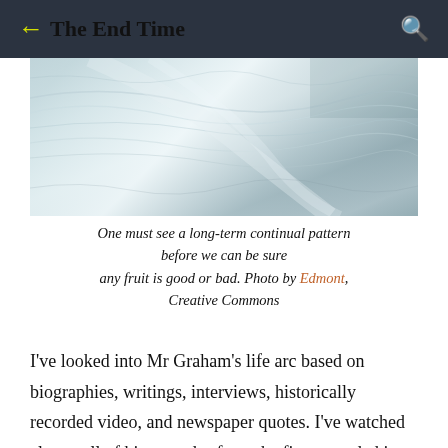The End Time
[Figure (photo): Close-up photo of a textured metallic or aluminum foil surface with light reflections, showing a wavy, shiny pattern.]
One must see a long-term continual pattern before we can be sure any fruit is good or bad. Photo by Edmont, Creative Commons
I've looked into Mr Graham's life arc based on biographies, writings, interviews, historically recorded video, and newspaper quotes. I've watched almost all of his crusades from the first recorded in 1949 through the late 1980s. Though the seeds of Mr Graham's apostasy were evident